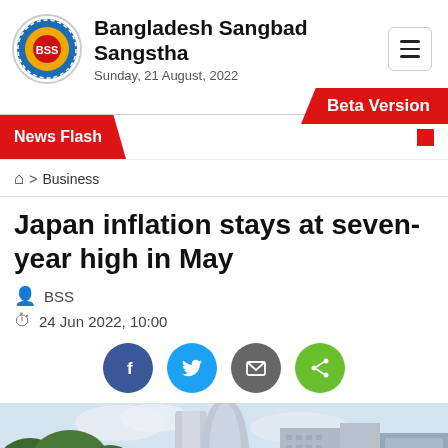Bangladesh Sangbad Sangstha — Sunday, 21 August, 2022
Beta Version
News Flash
🏠 > Business
Japan inflation stays at seven-year high in May
BSS
24 Jun 2022, 10:00
[Figure (photo): Cityscape with modern skyscrapers and trees in the foreground, likely a Japanese city]